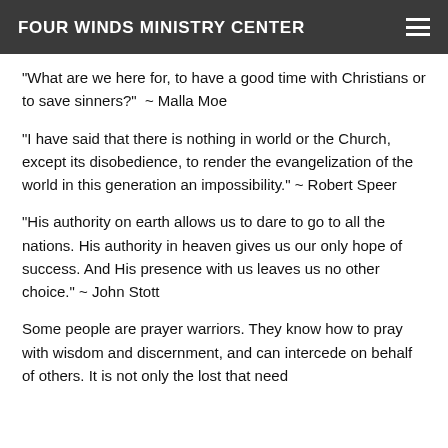FOUR WINDS MINISTRY CENTER
"What are we here for, to have a good time with Christians or to save sinners?"  ~ Malla Moe
"I have said that there is nothing in world or the Church, except its disobedience, to render the evangelization of the world in this generation an impossibility." ~ Robert Speer
"His authority on earth allows us to dare to go to all the nations. His authority in heaven gives us our only hope of success. And His presence with us leaves us no other choice." ~ John Stott
Some people are prayer warriors. They know how to pray with wisdom and discernment, and can intercede on behalf of others. It is not only the lost that need